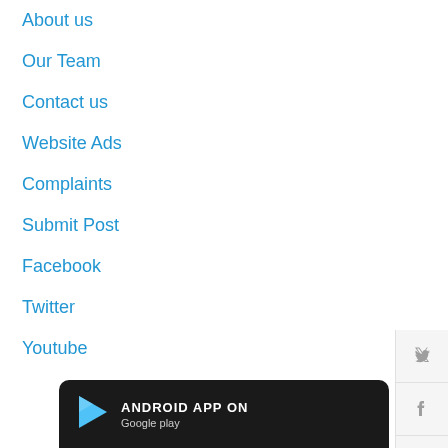About us
Our Team
Contact us
Website Ads
Complaints
Submit Post
Facebook
Twitter
Youtube
[Figure (other): Twitter bird icon button in sidebar]
[Figure (other): Facebook f icon button in sidebar]
[Figure (other): Scroll-to-top arrow button in sidebar]
[Figure (other): Android App on Google Play banner at bottom]